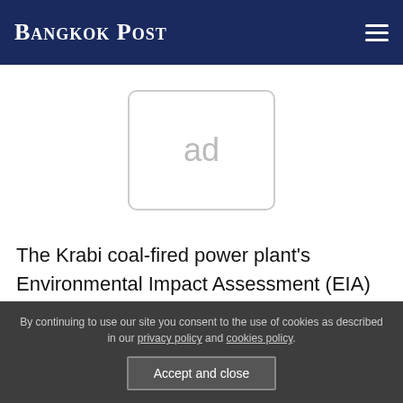Bangkok Post
[Figure (other): Advertisement placeholder box showing 'ad' text]
The Krabi coal-fired power plant's Environmental Impact Assessment (EIA) and the coal seaport's Environmental and Health Impact Assessment (EHIA) are before an Open expert committee
By continuing to use our site you consent to the use of cookies as described in our privacy policy and cookies policy.
Accept and close